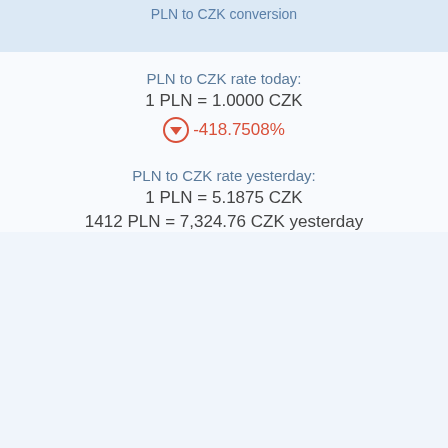PLN to CZK conversion
PLN to CZK rate today:
1 PLN = 1.0000 CZK
-418.7508%
PLN to CZK rate yesterday:
1 PLN = 5.1875 CZK
1412 PLN = 7,324.76 CZK yesterday